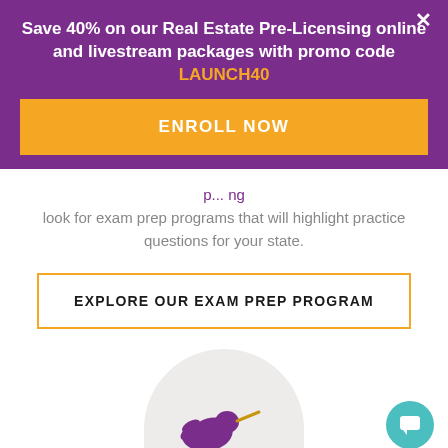Save 40% on our Real Estate Pre-Licensing online and livestream packages with promo code LAUNCH40
ENROLL NOW
look for exam prep programs that will highlight practice questions for your state.
EXPLORE OUR EXAM PREP PROGRAM
[Figure (illustration): Purple hummingbird logo on a light gray semicircle background]